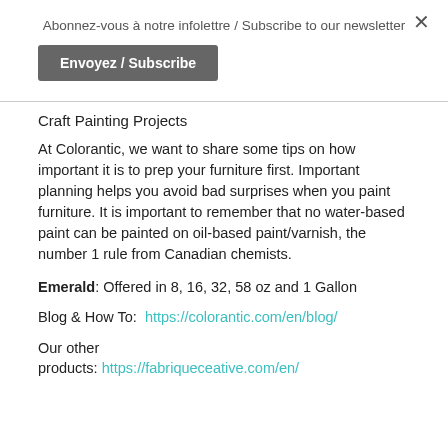× Abonnez-vous à notre infolettre / Subscribe to our newsletter
Envoyez / Subscribe
Craft Painting Projects
At Colorantic, we want to share some tips on how important it is to prep your furniture first. Important planning helps you avoid bad surprises when you paint furniture. It is important to remember that no water-based paint can be painted on oil-based paint/varnish, the number 1 rule from Canadian chemists.
Emerald: Offered in 8, 16, 32, 58 oz and 1 Gallon
Blog & How To:  https://colorantic.com/en/blog/
Our other products: https://fabriqueceative.com/en/